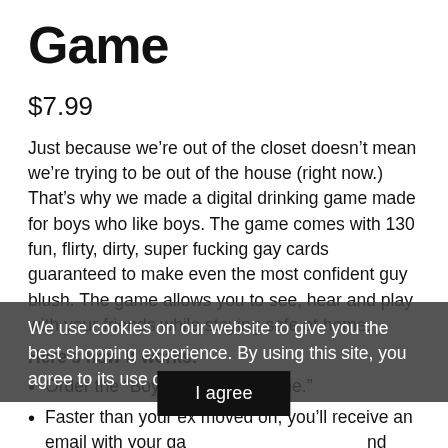Game
$7.99
Just because we’re out of the closet doesn’t mean we’re trying to be out of the house (right now.) That’s why we made a digital drinking game made for boys who like boys. The game comes with 130 fun, flirty, dirty, super fucking gay cards guaranteed to make even the most confident guy blush. The game allows you to see, hear and play with your friends while staying safe at home.
Here’s how it works:
• Order the “Boys Like Boys Game.”
• Faster than your ex moved on, you’ll receive an email with your game and instructions on how to invite your friends to play.
We use cookies on our website to give you the best shopping experience. By using this site, you agree to its use of cookies!
I agree